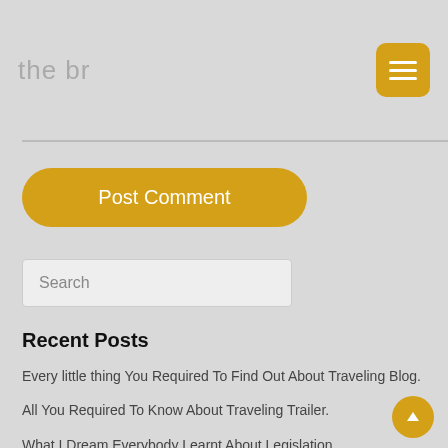the br
Post Comment
Search
Recent Posts
Every little thing You Required To Find Out About Traveling Blog.
All You Required To Know About Traveling Trailer.
What I Dream Everybody Learnt About Legislation.
The Dangers and Advantages of Online Video Gaming
You Need To Experience Financial Investment At Least As